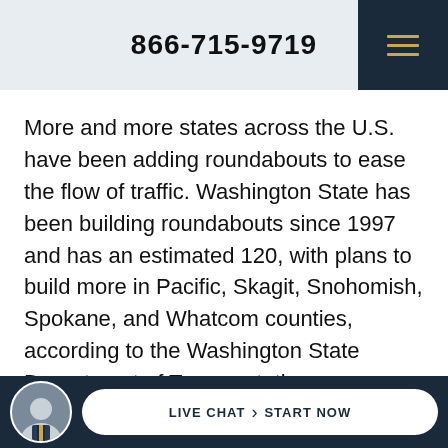866-715-9719
More and more states across the U.S. have been adding roundabouts to ease the flow of traffic. Washington State has been building roundabouts since 1997 and has an estimated 120, with plans to build more in Pacific, Skagit, Snohomish, Spokane, and Whatcom counties, according to the Washington State Department of Transportation.
As experienced car accident lawyers in Seattle, the team at Hardwick & Prendergast,
LIVE CHAT  START NOW